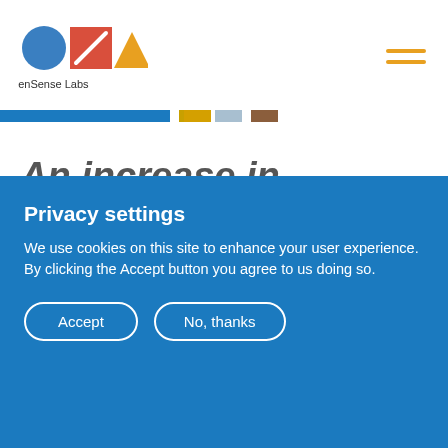OpenSense Labs
An increase in innovation and creativity
Privacy settings
We use cookies on this site to enhance your user experience. By clicking the Accept button you agree to us doing so.
Accept
No, thanks